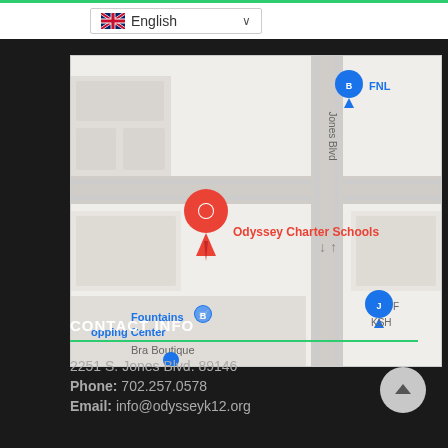[Figure (map): Google Maps screenshot showing Odyssey Charter Schools location on S. Jones Blvd, with a red location pin, nearby landmarks including Fountains Shopping Center, Bra Boutique, FNL store, and a blue location marker. Street Jones Blvd runs vertically.]
CONTACT INFO
2251 S. Jones Blvd. 89146
Phone: 702.257.0578
Email: info@odysseyk12.org